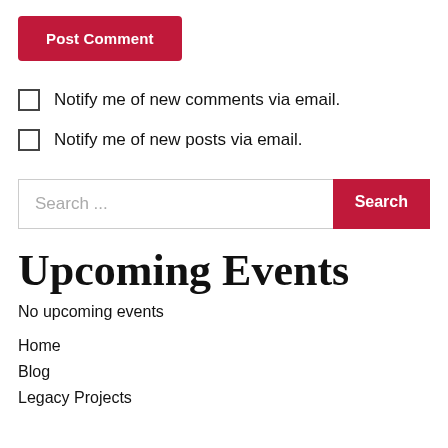Post Comment
Notify me of new comments via email.
Notify me of new posts via email.
Search ...
Upcoming Events
No upcoming events
Home
Blog
Legacy Projects